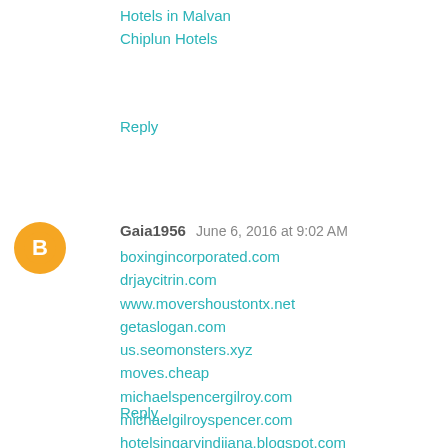Hotels in Malvan
Chiplun Hotels
Reply
[Figure (illustration): Blogger user avatar: orange circle with white blogger 'B' icon]
Gaia1956  June 6, 2016 at 9:02 AM
boxingincorporated.com
drjaycitrin.com
www.movershoustontx.net
getaslogan.com
us.seomonsters.xyz
moves.cheap
michaelspencergilroy.com
michaelgilroyspencer.com
hotelsingaryindiiana.blogspot.com
michaelspencergilroy.blogspot.com
michaelspenceringilroy.blogspot.com
Reply